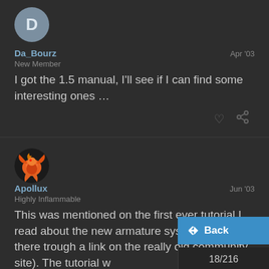[Figure (illustration): Avatar circle with letter D, grey background]
Da_Bourz | Apr '03
New Member
I got the 1.5 manual, I'll see if I can find some interesting ones ...
[Figure (illustration): Apollux avatar: orange/red phoenix-like creature on dark background]
Apollux | Jun '03
Highly Inflammable
This was mentioned on the first ever tutorial I read about the new armature sys there trough a link on the really old community site). The tutorial w
Back
18/216